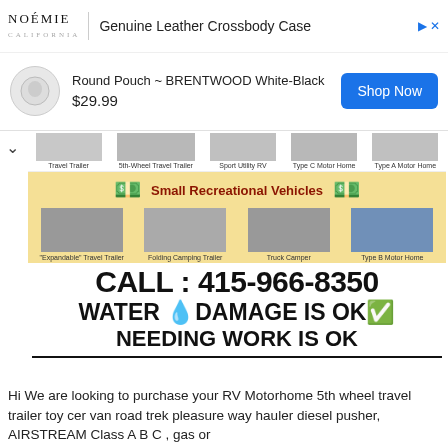[Figure (screenshot): Advertisement banner for NOÉMIE Genuine Leather Crossbody Case - Round Pouch BRENTWOOD White-Black, $29.99 with Shop Now button]
[Figure (infographic): RV types infographic showing Travel Trailer, 5th-Wheel Travel Trailer, Sport Utility RV, Type C Motor Home, Type A Motor Home in top row; Expandable Travel Trailer, Folding Camping Trailer, Truck Camper, Type B Motor Home in bottom row. Text: CALL: 415-966-8350, WATER DAMAGE IS OK, NEEDING WORK IS OK]
Hi We are looking to purchase your RV Motorhome 5th wheel travel trailer toy cer van road trek pleasure way hauler diesel pusher, AIRSTREAM Class A B C , gas or